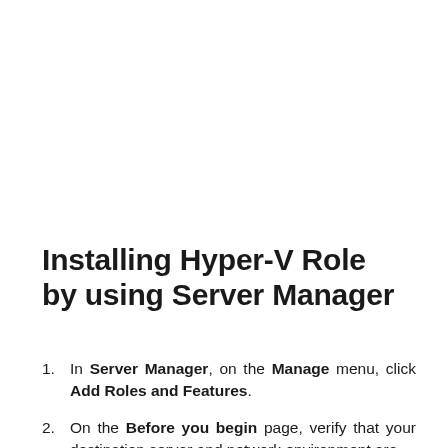Installing Hyper-V Role by using Server Manager
In Server Manager, on the Manage menu, click Add Roles and Features.
On the Before you begin page, verify that your destination server and network environment are